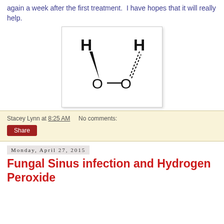again a week after the first treatment. I have hopes that it will really help.
[Figure (schematic): Structural diagram of hydrogen peroxide (H2O2) showing two hydrogen atoms bonded to two oxygen atoms connected by a single bond. H atoms are shown with wedge and dashed bonds to the O atoms.]
Stacey Lynn at 8:25 AM   No comments:
Share
Monday, April 27, 2015
Fungal Sinus infection and Hydrogen Peroxide